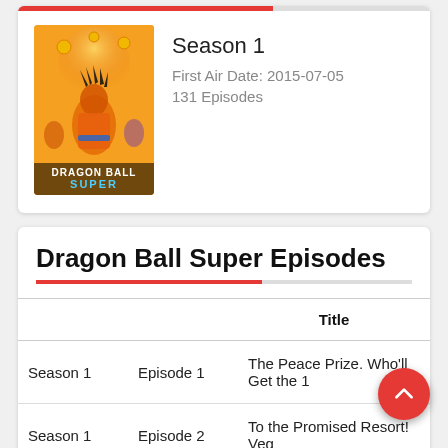[Figure (illustration): Dragon Ball Super Season 1 anime poster on orange background]
Season 1
First Air Date: 2015-07-05
131 Episodes
Dragon Ball Super Episodes
|  |  | Title |
| --- | --- | --- |
| Season 1 | Episode 1 | The Peace Prize. Who'll Get the 1 |
| Season 1 | Episode 2 | To the Promised Resort! Veg |
| Season 1 | Episode 3 | Where's the Rest of My Dream?! |